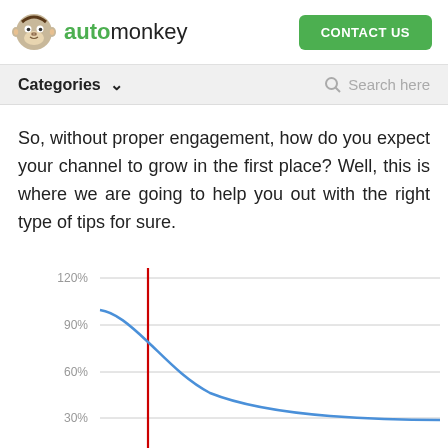automonkey | CONTACT US
Categories | Search here
So, without proper engagement, how do you expect your channel to grow in the first place? Well, this is where we are going to help you out with the right type of tips for sure.
[Figure (continuous-plot): A decreasing curve (blue line) starting near 95% on the y-axis at the left, falling steeply then flattening toward ~30% on the right. A vertical red line marks a point around the 10-15% x position near the peak drop. Y-axis labels: 30%, 60%, 90%, 120%.]